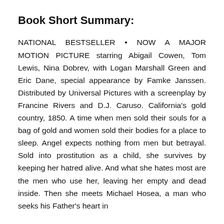Book Short Summary:
NATIONAL BESTSELLER • NOW A MAJOR MOTION PICTURE starring Abigail Cowen, Tom Lewis, Nina Dobrev, with Logan Marshall Green and Eric Dane, special appearance by Famke Janssen. Distributed by Universal Pictures with a screenplay by Francine Rivers and D.J. Caruso. California's gold country, 1850. A time when men sold their souls for a bag of gold and women sold their bodies for a place to sleep. Angel expects nothing from men but betrayal. Sold into prostitution as a child, she survives by keeping her hatred alive. And what she hates most are the men who use her, leaving her empty and dead inside. Then she meets Michael Hosea, a man who seeks his Father's heart in